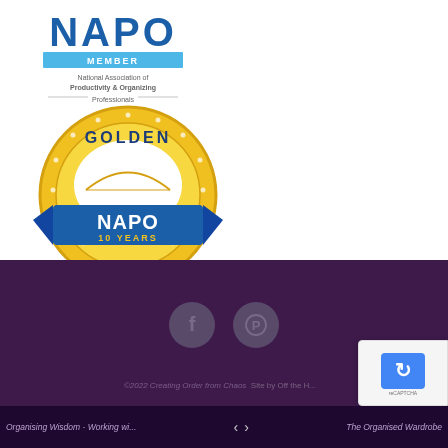[Figure (logo): NAPO Member logo - National Association of Productivity & Organizing Professionals with blue text and cyan member bar]
[Figure (logo): NAPO Golden Circle 10 Years badge - circular gold badge with blue ribbon and NAPO text]
[Figure (other): Social media icons - Facebook (f) and Pinterest (P) icons in grey circles on dark purple background]
©2022 Creating Order from Chaos Site by Off the...
Organising Wisdom - Working wi... | < > | The Organised Wardrobe